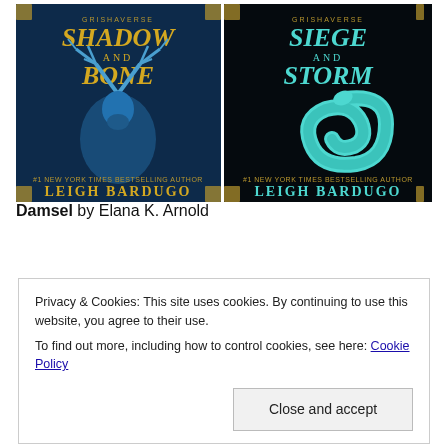[Figure (illustration): Two book covers side by side. Left: 'Shadow and Bone' by Leigh Bardugo (Grishaverse) featuring a blue stag on dark navy background. Right: 'Siege and Storm' by Leigh Bardugo (Grishaverse) featuring a teal/turquoise serpent on dark background.]
Damsel by Elana K. Arnold
Privacy & Cookies: This site uses cookies. By continuing to use this website, you agree to their use.
To find out more, including how to control cookies, see here: Cookie Policy
Close and accept